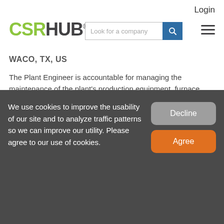Login
[Figure (logo): CSRHUB logo with green CSR and dark HUB text, registered trademark symbol]
[Figure (screenshot): Search bar with placeholder 'Look for a company' and blue search button]
WACO, TX, US
The Plant Engineer is accountable for managing the maintenance of the plant's production equipment, furnace, electrical systems, building and grounds.
Sat, 27 Aug 2022 05:24:36 GMT
Assistant Plant Quality M…
We use cookies to improve the usability of our site and to analyze traffic patterns so we can improve our utility. Please agree to our use of cookies.